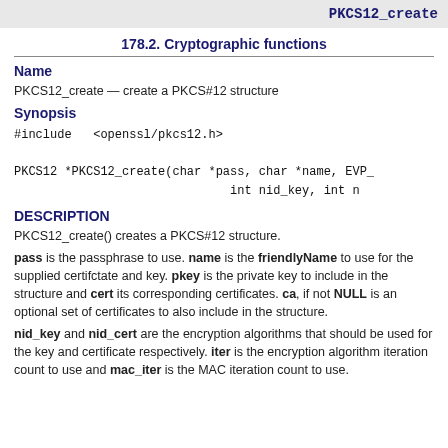PKCS12_create
178.2. Cryptographic functions
Name
PKCS12_create — create a PKCS#12 structure
Synopsis
DESCRIPTION
PKCS12_create() creates a PKCS#12 structure.
pass is the passphrase to use. name is the friendlyName to use for the supplied certifctate and key. pkey is the private key to include in the structure and cert its corresponding certificates. ca, if not NULL is an optional set of certificates to also include in the structure.
nid_key and nid_cert are the encryption algorithms that should be used for the key and certificate respectively. iter is the encryption algorithm iteration count to use and mac_iter is the MAC iteration count to use.